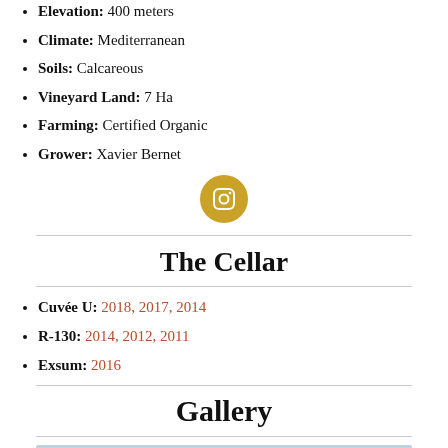Elevation: 400 meters
Climate: Mediterranean
Soils: Calcareous
Vineyard Land: 7 Ha
Farming: Certified Organic
Grower: Xavier Bernet
[Figure (illustration): Instagram icon — golden circle with white camera icon]
The Cellar
Cuvée U: 2018, 2017, 2014
R-130: 2014, 2012, 2011
Exsum: 2016
Gallery
[Figure (photo): Partial view of a photo gallery image at the bottom of the page]